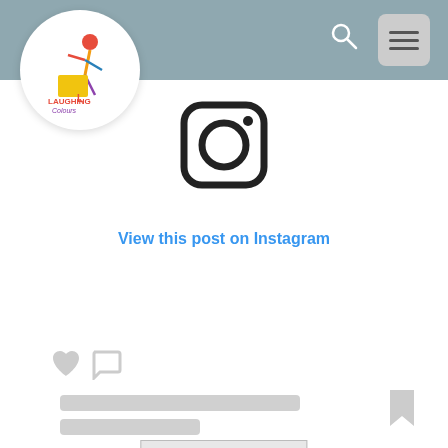[Figure (screenshot): Website screenshot of Laughing Colours page showing Instagram embed, advertisement banner, and partial article text]
Laughing Colours
View this post on Instagram
ADVERTISEMENT
Sign up today!
Adding most contro